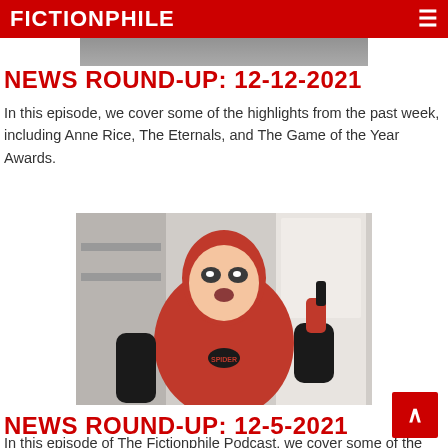FICTIONPHILE
[Figure (photo): Partially cropped photo at the top of the page, showing the bottom portion of an image]
NEWS ROUND-UP: 12-12-2021
In this episode, we cover some of the highlights from the past week, including Anne Rice, The Eternals, and The Game of the Year Awards.
[Figure (photo): Photo of a young man in a red and black Spider-Man costume, looking surprised, standing in front of a white door and shelves]
NEWS ROUND-UP: 12-5-2021
In this episode of The Fictionphile Podcast, we cover some of the highlights from the past week, including news about